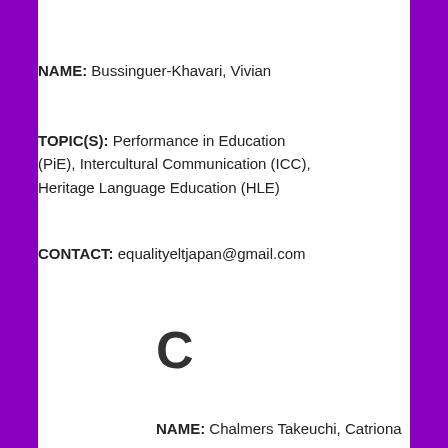NAME:  Bussinguer-Khavari, Vivian
TOPIC(S):  Performance in Education (PiE), Intercultural Communication (ICC), Heritage Language Education (HLE)
CONTACT:  equalityeltjapan@gmail.com
C
NAME:  Chalmers Takeuchi, Catriona